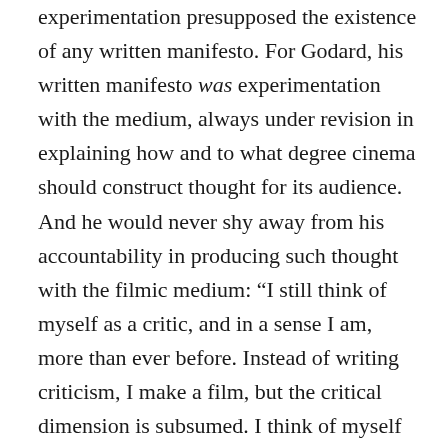experimentation presupposed the existence of any written manifesto. For Godard, his written manifesto was experimentation with the medium, always under revision in explaining how and to what degree cinema should construct thought for its audience. And he would never shy away from his accountability in producing such thought with the filmic medium: “I still think of myself as a critic, and in a sense I am, more than ever before. Instead of writing criticism, I make a film, but the critical dimension is subsumed. I think of myself as an essayist, producing essays in novel form, or novels in essay form: only instead of writing, I film them.” Although here he seems rather forward in his affirmation of his role as a filmmaker, his films are often anything but. Containing a similar tone anticipated in his first feature, 1960’s À bout de souffle (Breathless), and explored soon afterwards in 1964’s